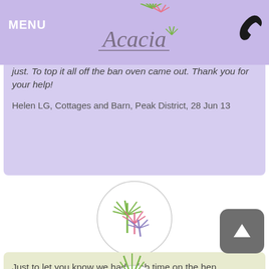MENU — Acacia (logo)
just. To top it all off the ban oven came out. Thank you for your help!
Helen LG, Cottages and Barn, Peak District, 28 Jun 13
[Figure (logo): Acacia logo: three stylized palm trees (green, pink, purple) inside an oval outline]
Just to let you know we had a fab time on the hen, everything went to plan and we thought the catering was particularly good.
Rachel L, Smith's House, Peak District, 28 Jun 13
[Figure (logo): Partial Acacia palm tree logo at bottom of page]